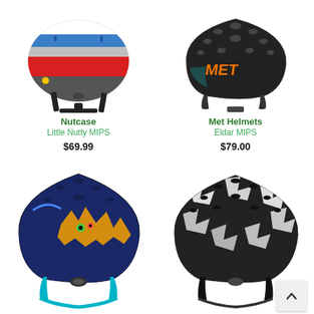[Figure (photo): Nutcase Little Nutty MIPS helmet - colorful striped helmet with red, white, blue, and silver bands, with black chin strap]
Nutcase
Little Nutty MIPS
$69.99
[Figure (photo): Met Helmets Eldar MIPS - matte black mountain bike helmet with orange MET logo and multiple vents]
Met Helmets
Eldar MIPS
$79.00
[Figure (photo): Dark navy blue children's bike helmet with colorful monster/creature graphic design, blue chin straps]
[Figure (photo): Black and white/gray patterned youth bike helmet with multiple vents and black straps, partially shown]